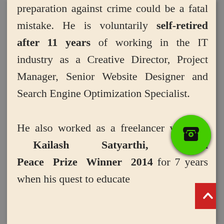preparation against crime could be a fatal mistake. He is voluntarily self-retired after 11 years of working in the IT industry as a Creative Director, Project Manager, Senior Website Designer and Search Engine Optimization Specialist.

He also worked as a freelancer with Mr Kailash Satyarthi, Nobel Peace Prize Winner 2014 for 7 years when his quest to educate